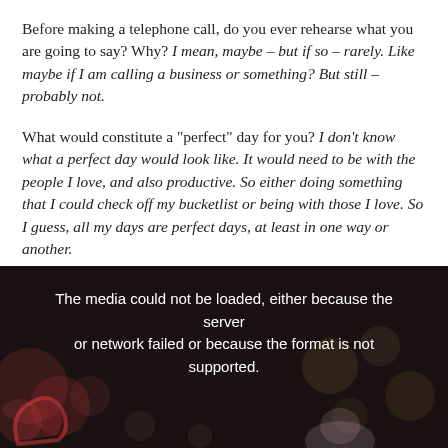Before making a telephone call, do you ever rehearse what you are going to say? Why? I mean, maybe – but if so – rarely. Like maybe if I am calling a business or something? But still – probably not.
What would constitute a "perfect" day for you? I don't know what a perfect day would look like. It would need to be with the people I love, and also productive. So either doing something that I could check off my bucketlist or being with those I love. So I guess, all my days are perfect days, at least in one way or another.
[Figure (screenshot): Dark media player error screen with blurred bokeh lights in background and a partially visible anime/cartoon character at bottom. Text reads: 'The media could not be loaded, either because the server or network failed or because the format is not supported.']